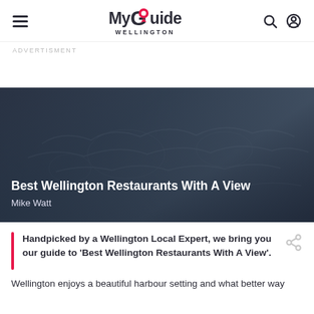My Guide Wellington
ADVERTISMENT
[Figure (photo): Dark blue-grey hero image with subtle world map outline overlay, containing article title and author text]
Best Wellington Restaurants With A View
Mike Watt
Handpicked by a Wellington Local Expert, we bring you our guide to 'Best Wellington Restaurants With A View'.
Wellington enjoys a beautiful harbour setting and what better way